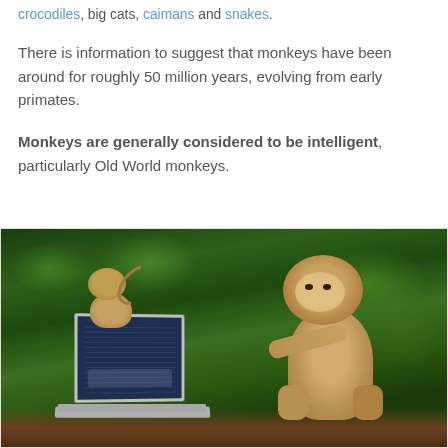crocodiles, big cats, caimans and snakes.
There is information to suggest that monkeys have been around for roughly 50 million years, evolving from early primates.
Monkeys are generally considered to be intelligent, particularly Old World monkeys.
[Figure (photo): Two monkeys interacting with a laptop computer outdoors in a green forest setting. One monkey sits behind the laptop typing, while a smaller monkey perches on top of the screen. The background shows lush green foliage.]